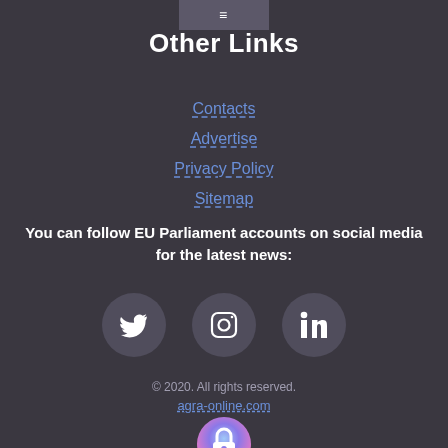≡
Other Links
Contacts
Advertise
Privacy Policy
Sitemap
You can follow EU Parliament accounts on social media for the latest news:
[Figure (infographic): Three social media icons: Twitter bird icon, Instagram camera icon, LinkedIn 'in' icon, each on a circular dark background]
© 2020. All rights reserved.
agra-online.com
[Figure (logo): Circular gradient lock icon with blue-purple-pink gradient background and a white padlock symbol]